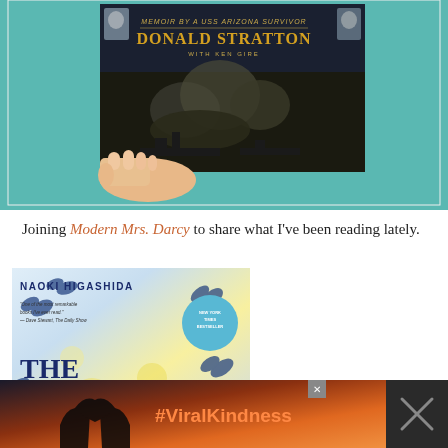[Figure (photo): A hand holding a book with a dark cover showing 'MEMOIR BY A USS ARIZONA SURVIVOR', 'DONALD STRATTON', 'WITH KEN GIRE', with an explosion/warship scene on the lower portion, against a teal background.]
Joining Modern Mrs. Darcy to share what I've been reading lately.
[Figure (photo): Book cover of 'The Reason I Jump' by Naoki Higashida, featuring butterflies and yellow/blue color scheme, with a New York Times Bestseller badge and quote.]
[Figure (photo): Advertisement banner showing hands making a heart shape against a sunset, with text '#ViralKindness' in orange.]